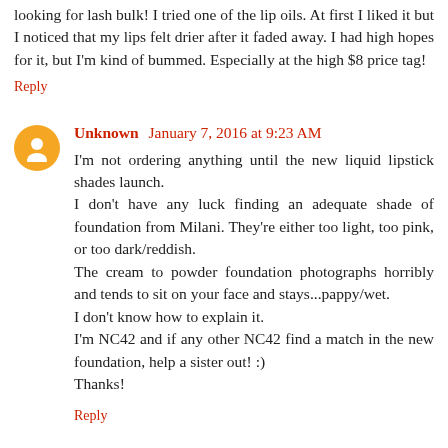looking for lash bulk! I tried one of the lip oils. At first I liked it but I noticed that my lips felt drier after it faded away. I had high hopes for it, but I'm kind of bummed. Especially at the high $8 price tag!
Reply
Unknown January 7, 2016 at 9:23 AM
I'm not ordering anything until the new liquid lipstick shades launch.
I don't have any luck finding an adequate shade of foundation from Milani. They're either too light, too pink, or too dark/reddish.
The cream to powder foundation photographs horribly and tends to sit on your face and stays...pappy/wet.
I don't know how to explain it.
I'm NC42 and if any other NC42 find a match in the new foundation, help a sister out! :)
Thanks!
Reply